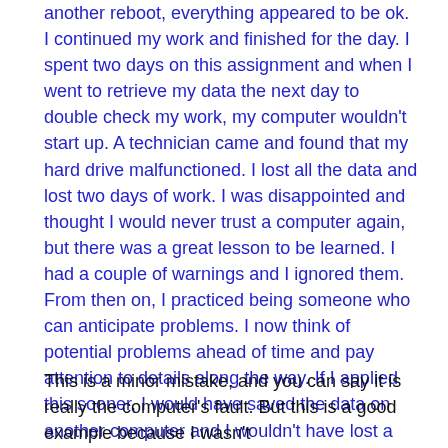another reboot, everything appeared to be ok. I continued my work and finished for the day. I spent two days on this assignment and when I went to retrieve my data the next day to double check my work, my computer wouldn't start up. A technician came and found that my hard drive malfunctioned. I lost all the data and lost two days of work. I was disappointed and thought I would never trust a computer again, but there was a great lesson to be learned. I had a couple of warnings and I ignored them. From then on, I practiced being someone who can anticipate problems. I now think of potential problems ahead of time and pay attention to details along the way. If I applied this sooner, I would have saved the data on another computer and I wouldn't have lost a couple days of work. But I can't say I regret making the mistake because it made me someone who can anticipate problems better."
This is a minor mistake, and you can say it is really the computer's fault. But this is a good example because I wasn't